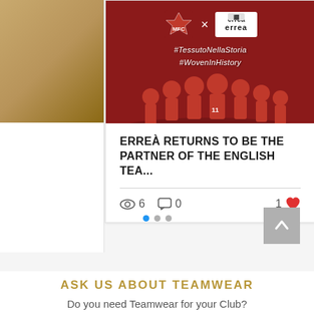[Figure (photo): Promotional image with dark red background showing Middlesbrough FC crest and Erreà logo with X between them, hashtags #TessutoNellaStoria #WovenInHistory, and players in red kit celebrating with a trophy]
ERREÀ RETURNS TO BE THE PARTNER OF THE ENGLISH TEA...
Views: 6  Comments: 0  Likes: 1
ASK US ABOUT TEAMWEAR
Do you need Teamwear for your Club?